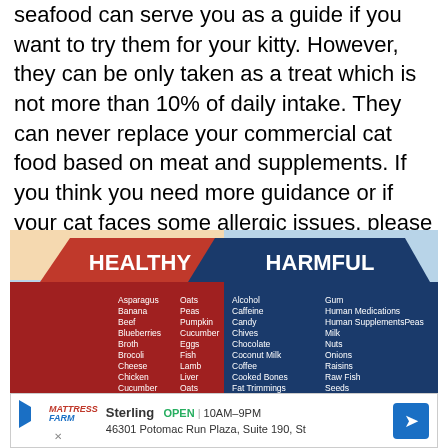seafood can serve you as a guide if you want to try them for your kitty. However, they can be only taken as a treat which is not more than 10% of daily intake. They can never replace your commercial cat food based on meat and supplements. If you think you need more guidance or if your cat faces some allergic issues, please contact your veterinarian.
[Figure (infographic): Infographic showing two columns: HEALTHY foods for cats (Asparagus, Banana, Beef, Blueberries, Broth, Brocoli, Cheese, Chicken, Cucumber, Eggs, Fish, Lamb, Liver / Oats, Peas, Pumpkin, Cucumber, Eggs, Fish, Lamb, Liver, Oats, Peas, Pumpkin, Turkey, Yogurt) and HARMFUL foods for cats (Alcohol, Caffeine, Candy, Chives, Chocolate, Coconut Milk, Coffee, Cooked Bones, Fat Trimmings, garlic, Grapes / Gum, Human Medications, Human SupplementsPeas, Milk, Nuts, Onions, Raisins, Raw Fish, Seeds, Xylol, Yeast Dough)]
Sterling  OPEN  10AM–9PM  46301 Potomac Run Plaza, Suite 190, St